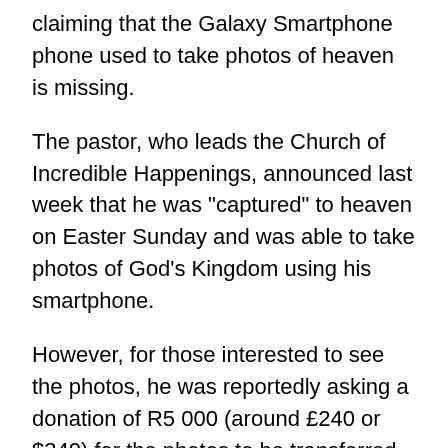claiming that the Galaxy Smartphone phone used to take photos of heaven is missing.
The pastor, who leads the Church of Incredible Happenings, announced last week that he was "captured" to heaven on Easter Sunday and was able to take photos of God's Kingdom using his smartphone.
However, for those interested to see the photos, he was reportedly asking a donation of R5 000 (around £240 or $340) for the photos to be transferred via WhatsApp.
This prompted the CRL to review earlier charges filed against the prophet for the commercialisation of